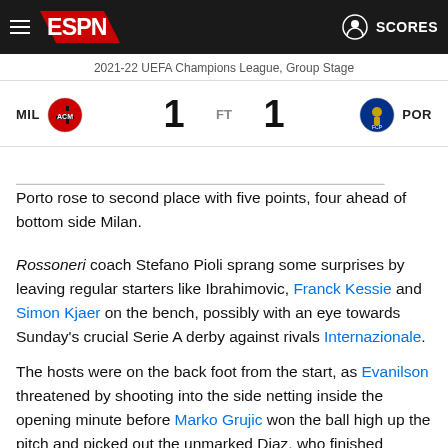ESPN — 2021-22 UEFA Champions League, Group Stage
MIL 1  FT  1 POR
Porto rose to second place with five points, four ahead of bottom side Milan.
Rossoneri coach Stefano Pioli sprang some surprises by leaving regular starters like Ibrahimovic, Franck Kessie and Simon Kjaer on the bench, possibly with an eye towards Sunday's crucial Serie A derby against rivals Internazionale.
The hosts were on the back foot from the start, as Evanilson threatened by shooting into the side netting inside the opening minute before Marko Grujic won the ball high up the pitch and picked out the unmarked Diaz, who finished calmly.